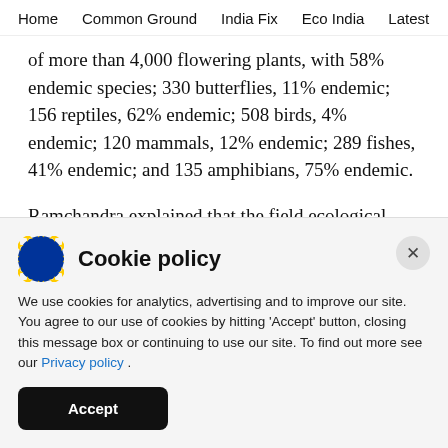Home   Common Ground   India Fix   Eco India   Latest   Th
of more than 4,000 flowering plants, with 58% endemic species; 330 butterflies, 11% endemic; 156 reptiles, 62% endemic; 508 birds, 4% endemic; 120 mammals, 12% endemic; 289 fishes, 41% endemic; and 135 amphibians, 75% endemic.
Ramchandra explained that the field ecological survey suggests that the area consists of 1,068
Cookie policy
We use cookies for analytics, advertising and to improve our site. You agree to our use of cookies by hitting 'Accept' button, closing this message box or continuing to use our site. To find out more see our Privacy policy .
Accept